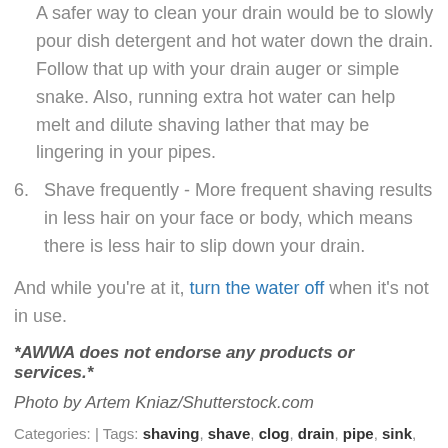A safer way to clean your drain would be to slowly pour dish detergent and hot water down the drain. Follow that up with your drain auger or simple snake. Also, running extra hot water can help melt and dilute shaving lather that may be lingering in your pipes.
6. Shave frequently - More frequent shaving results in less hair on your face or body, which means there is less hair to slip down your drain.
And while you're at it, turn the water off when it's not in use.
*AWWA does not endorse any products or services.*
Photo by Artem Kniaz/Shutterstock.com
Categories: | Tags: shaving, shave, clog, drain, pipe, sink, hair, sanitary, hygiene, plumbing | View Count: (993) | Return
[Figure (other): Share button bar with social media icons (Facebook, Twitter, email) and a '...' button]
Related
Two regional taste test winners are named 1/9/2014